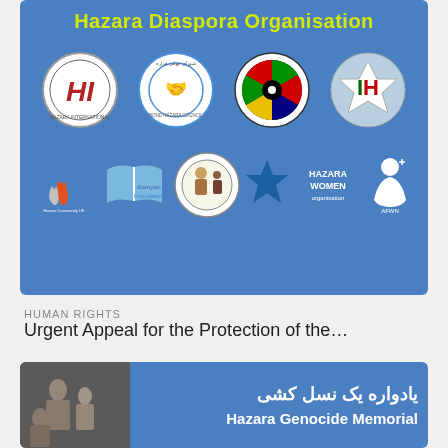[Figure (infographic): Hazara Diaspora Organisation banner with multiple organization logos on a blue background. Top row: Hazara International (HI logo), Bond Hazara Council (handshake circle logo), Hazara Community Organisation (colorful circle), IH star logo. Bottom row: Hazara Community UK, Bamyan Foundation, Afghan community circle logo, Hazara Women organization, AFWN.]
Hazara Diaspora Organisation
HUMAN RIGHTS
Urgent Appeal for the Protection of the…
[Figure (infographic): Blue card showing a black-and-white historical photo of Hazara people on the left, and Persian text 'یادواره یک نسل کشی' with English subtitle 'Hazara Genocide Memorial' on the right.]